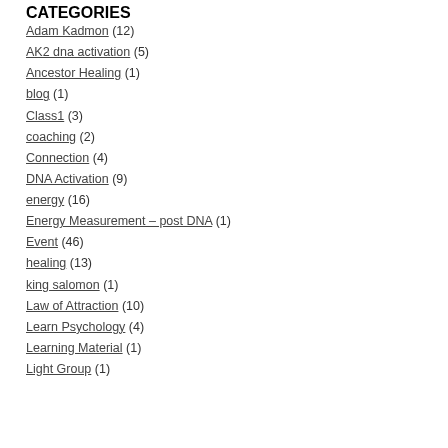CATEGORIES
Adam Kadmon (12)
AK2 dna activation (5)
Ancestor Healing (1)
blog (1)
Class1 (3)
coaching (2)
Connection (4)
DNA Activation (9)
energy (16)
Energy Measurement – post DNA (1)
Event (46)
healing (13)
king salomon (1)
Law of Attraction (10)
Learn Psychology (4)
Learning Material (1)
Light Group (1)